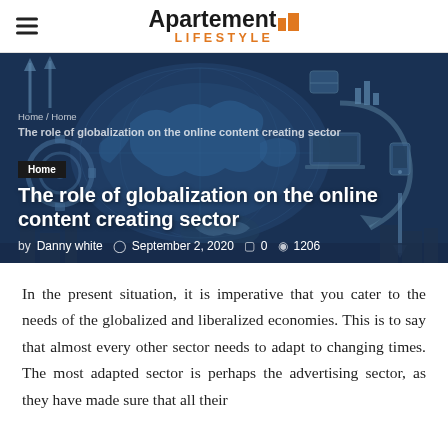Apartement Lifestyle
[Figure (illustration): Globalization concept illustration with world map, gears, arrows, digital icons, handshake, and cityscape in blue tones]
Home / Home
The role of globalization on the online content creating sector
Home
The role of globalization on the online content creating sector
by Danny white   September 2, 2020   0   1206
In the present situation, it is imperative that you cater to the needs of the globalized and liberalized economies. This is to say that almost every other sector needs to adapt to changing times. The most adapted sector is perhaps the advertising sector, as they have made sure that all their